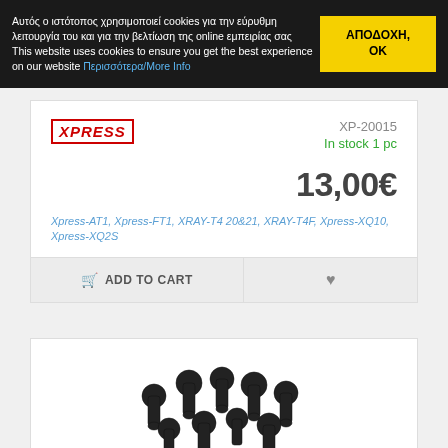Αυτός ο ιστότοπος χρησιμοποιεί cookies για την εύρυθμη λειτουργία του και για την βελτίωση της online εμπειρίας σας This website uses cookies to ensure you get the best experience on our website Περισσότερα/More Info
ΑΠΟΔΟΧΗ, ΟΚ
[Figure (logo): XPRESS brand logo in red italic bold text with border]
XP-20015
In stock 1 pc
13,00€
Xpress-AT1, Xpress-FT1, XRAY-T4 20&21, XRAY-T4F, Xpress-XQ10, Xpress-XQ2S
ADD TO CART
[Figure (photo): Black metal screws/bolts with ball ends, pile of hardware parts photographed on white background]